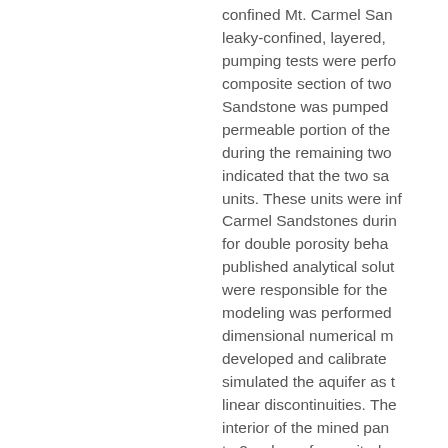confined Mt. Carmel San leaky-confined, layered, pumping tests were performed composite section of two Sandstone was pumped permeable portion of the during the remaining two indicated that the two sa units. These units were inf Carmel Sandstones during for double porosity behavior published analytical solutions were responsible for the modeling was performed dimensional numerical m developed and calibrated simulated the aquifer as t linear discontinuities. The interior of the mined pan to 2 orders of magnitude to the pre-subsidence co portion of the aquifer ove characterized by significan permeability and storativ third zone represented a